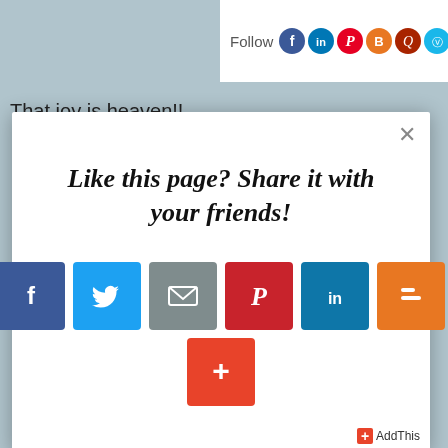[Figure (screenshot): Social media follow bar with circular icons for Facebook, LinkedIn, Pinterest, Blogger, Quora, Vimeo, Twitter, Instagram]
That joy is heaven!!
“But his master answered him, ‘You wicked and
[Figure (screenshot): Modal popup with text 'Like this page? Share it with your friends!' and social sharing buttons for Facebook, Twitter, Email, Pinterest, LinkedIn, Blogger, and a + AddThis button]
AddThis